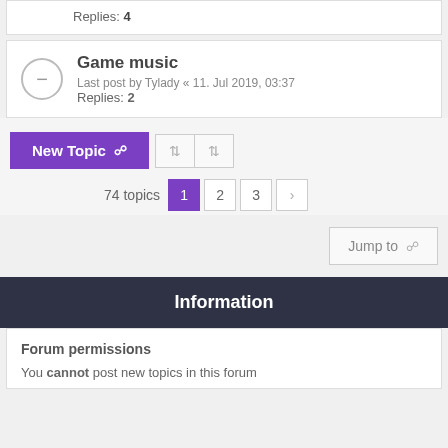Replies: 4
Game music
Last post by Tylady « 11. Jul 2019, 03:37
Replies: 2
New Topic
74 topics  1  2  3  →
Jump to
Information
Forum permissions
You cannot post new topics in this forum